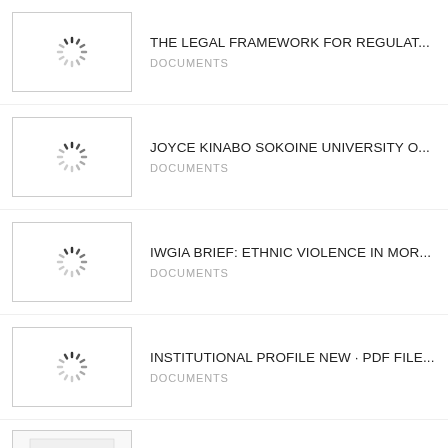THE LEGAL FRAMEWORK FOR REGULAT... | DOCUMENTS
JOYCE KINABO SOKOINE UNIVERSITY O... | DOCUMENTS
IWGIA BRIEF: ETHNIC VIOLENCE IN MOR... | DOCUMENTS
INSTITUTIONAL PROFILE NEW · PDF FILE... | DOCUMENTS
HIA - TANZANIA ONLINE GATEWAY - A GA... | DOCUMENTS